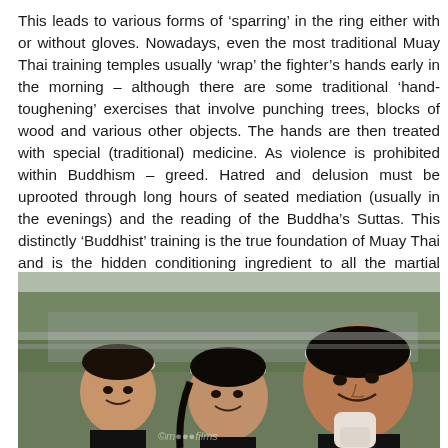This leads to various forms of 'sparring' in the ring either with or without gloves. Nowadays, even the most traditional Muay Thai training temples usually 'wrap' the fighter's hands early in the morning – although there are some traditional 'hand-toughening' exercises that involve punching trees, blocks of wood and various other objects. The hands are then treated with special (traditional) medicine. As violence is prohibited within Buddhism – greed. Hatred and delusion must be uprooted through long hours of seated mediation (usually in the evenings) and the reading of the Buddha's Suttas. This distinctly 'Buddhist' training is the true foundation of Muay Thai and is the hidden conditioning ingredient to all the martial technique that this art involves.
[Figure (photo): Three young girls wearing white headbands, dressed in black, smiling at the camera. They appear to be at a Muay Thai or martial arts event. The girl in the foreground on the right has her fist raised with a white cloth wrap.]